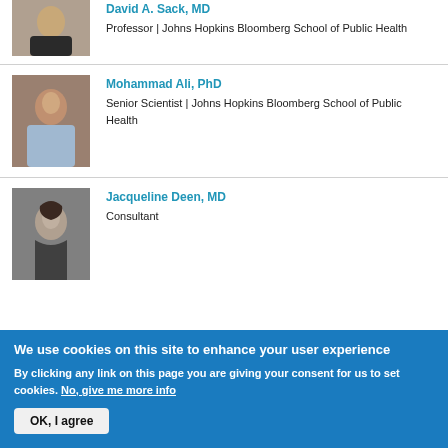David A. Sack, MD
Professor | Johns Hopkins Bloomberg School of Public Health
[Figure (photo): Headshot of Mohammad Ali, PhD]
Mohammad Ali, PhD
Senior Scientist | Johns Hopkins Bloomberg School of Public Health
[Figure (photo): Headshot of Jacqueline Deen, MD]
Jacqueline Deen, MD
Consultant
We use cookies on this site to enhance your user experience
By clicking any link on this page you are giving your consent for us to set cookies. No, give me more info
OK, I agree